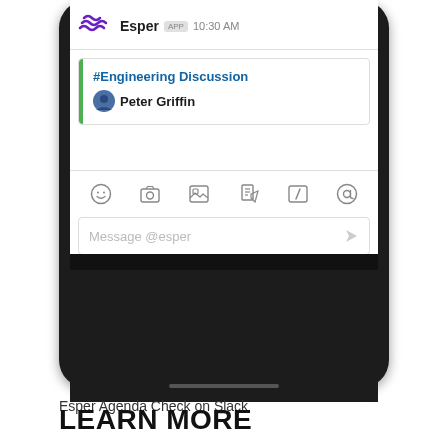[Figure (screenshot): Screenshot of a smartphone showing a Slack notification from Esper app at 10:30 AM with an #Engineering Discussion channel notification from Peter Griffin, along with the Slack messaging toolbar and message input field showing 'Message @esper', and Android navigation buttons at the bottom.]
Esper Agenda Check on Slack
LEARN MORE